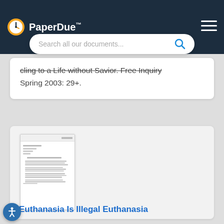PaperDue™
cling to a Life without Savior. Free Inquiry Spring 2003: 29+.
[Figure (screenshot): Thumbnail preview of a document page with lines of text]
Euthanasia Is Illegal Euthanasia